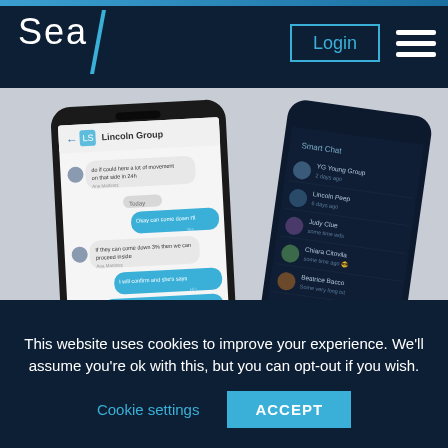Sea/ Login [hamburger menu]
[Figure (screenshot): Two smartphones (iPhone-style) displaying a group messaging app called Sea/. The front phone shows a chat conversation in 'Lincoln Group' with blue and white chat bubbles. The back phone shows a dark-themed contacts/conversations list with user avatars and names.]
This website uses cookies to improve your experience. We'll assume you're ok with this, but you can opt-out if you wish.
Cookie settings
ACCEPT